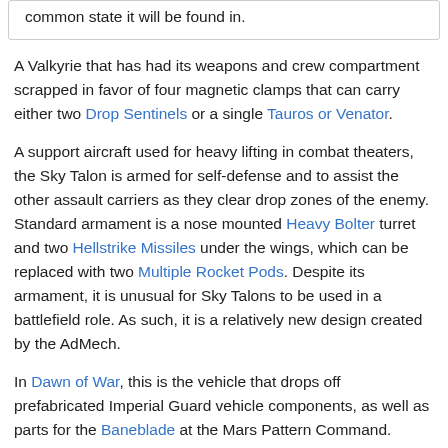common state it will be found in.
A Valkyrie that has had its weapons and crew compartment scrapped in favor of four magnetic clamps that can carry either two Drop Sentinels or a single Tauros or Venator.
A support aircraft used for heavy lifting in combat theaters, the Sky Talon is armed for self-defense and to assist the other assault carriers as they clear drop zones of the enemy. Standard armament is a nose mounted Heavy Bolter turret and two Hellstrike Missiles under the wings, which can be replaced with two Multiple Rocket Pods. Despite its armament, it is unusual for Sky Talons to be used in a battlefield role. As such, it is a relatively new design created by the AdMech.
In Dawn of War, this is the vehicle that drops off prefabricated Imperial Guard vehicle components, as well as parts for the Baneblade at the Mars Pattern Command.
In Dawn of War 2, it drops off turrets, personnel, and vehicles